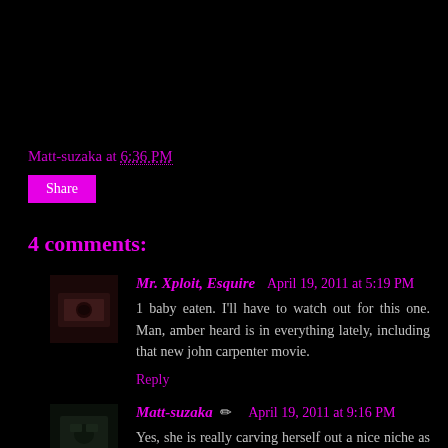Matt-suzaka at 6:36 PM
Share
4 comments:
Mr. Xploit, Esquire  April 19, 2011 at 5:19 PM
1 baby eaten. I'll have to watch out for this one. Man, amber heard is in everything lately, including that new john carpenter movie.
Reply
Matt-suzaka ✏ April 19, 2011 at 9:16 PM
Yes, she is really carving herself out a nice niche as a genre actress and doing a Carpenter film (that's gotten decent reviews) only adds to that.